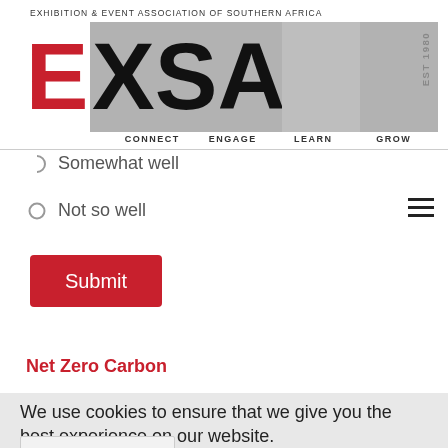[Figure (logo): EXSA - Exhibition & Event Association of Southern Africa logo with grey blocks, red E, black XSA text, and taglines CONNECT ENGAGE LEARN GROW. EST 1980.]
Somewhat well
Not so well
Submit
Net Zero Carbon
We use cookies to ensure that we give you the best experience on our website.
I accept